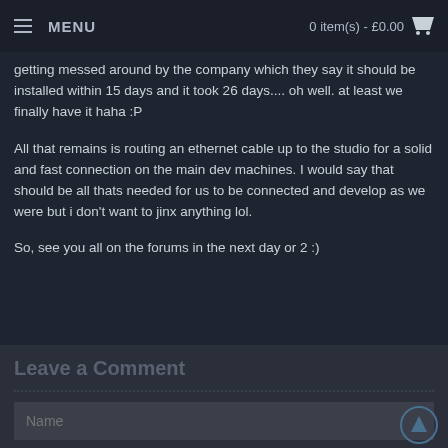MENU | 0 item(s) - £0.00
getting messed around by the company which they say it should be installed within 15 days and it took 26 days.... oh well. at least we finally have it haha :P
All that remains is routing an ethernet cable up to the studio for a solid and fast connection on the main dev machines. I would say that should be all thats needed for us to be connected and develop as we were but i don't want to jinx anything lol.
So, see you all on the forums in the next day or 2 :)
Leave a Comment